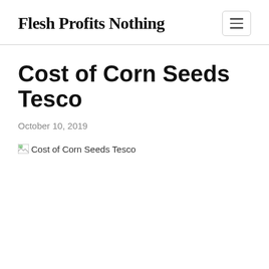Flesh Profits Nothing
Cost of Corn Seeds Tesco
October 10, 2019
[Figure (photo): Broken image placeholder with alt text: Cost of Corn Seeds Tesco]